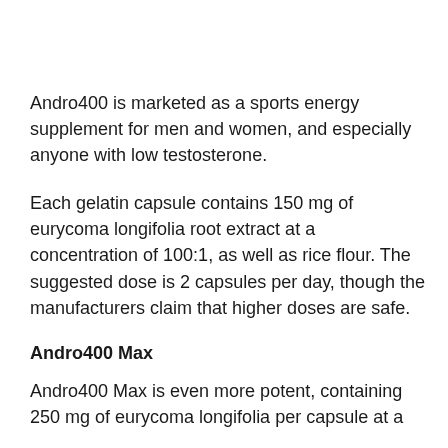Andro400 is marketed as a sports energy supplement for men and women, and especially anyone with low testosterone.
Each gelatin capsule contains 150 mg of eurycoma longifolia root extract at a concentration of 100:1, as well as rice flour. The suggested dose is 2 capsules per day, though the manufacturers claim that higher doses are safe.
Andro400 Max
Andro400 Max is even more potent, containing 250 mg of eurycoma longifolia per capsule at a